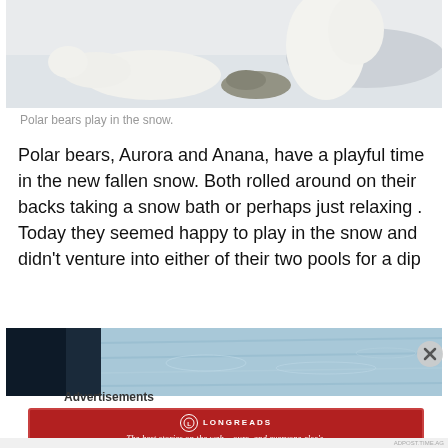[Figure (photo): Polar bears resting and playing in snow, white snowy landscape]
Polar bears play in the snow.
Polar bears, Aurora and Anana, have a playful time in the new fallen snow. Both rolled around on their backs taking a snow bath or perhaps just relaxing . Today they seemed happy to play in the snow and didn't venture into either of their two pools for a dip
[Figure (photo): Partial view of a dark and light blue water scene, possibly a pool]
Advertisements
[Figure (logo): Longreads advertisement banner: The best stories on the web – ours, and everyone else's.]